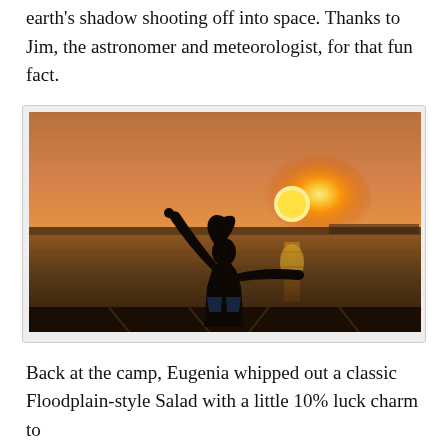earth's shadow shooting off into space. Thanks to Jim, the astronomer and meteorologist, for that fun fact.
[Figure (photo): Silhouette of a person with arms raised wide against a vivid orange and golden sunset over a flat wetland or tidal area, with the sun reflected on the water.]
Back at the camp, Eugenia whipped out a classic Floodplain-style Salad with a little 10% luck charm to...